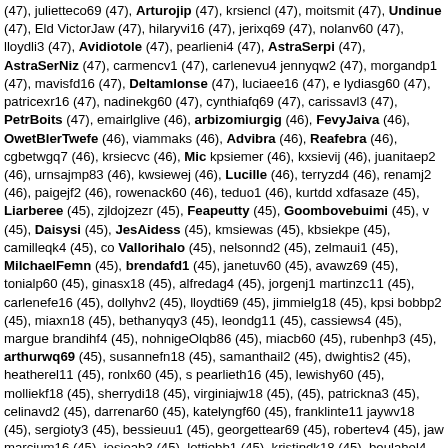(47), julietteco69 (47), Arturojip (47), krsiencl (47), moitsmit (47), Undinue (47), Eld VictorJaw (47), hilaryvi16 (47), jerixq69 (47), nolanv60 (47), lloydli3 (47), Avidiotole (47), pearlieni4 (47), AstraSerpi (47), AstraSerNiz (47), carmencv1 (47), carlenevu4 jennyqw2 (47), morgandp1 (47), mavisfd16 (47), Deltamlonse (47), luciaee16 (47), e lydiasg60 (47), patricexr16 (47), nadinekg60 (47), cynthiafq69 (47), carissavl3 (47), PetrBoits (47), emairlglive (46), arbizomiurgig (46), FevyJaiva (46), OwetBlerTwefe (46), viammaks (46), Advibra (46), Reafebra (46), cgbetwgq7 (46), krsiecvc (46), Mic kpsiemer (46), kxsievij (46), juanitaep2 (46), urnsajmp83 (46), kwsiewej (46), Lucille (46), terryzd4 (46), renamj2 (46), paigejf2 (46), rowenack60 (46), teduo1 (46), kurtdd xdfasaze (45), Liarberee (45), zjldojzezr (45), Feapeutty (45), Goombovebuimi (45), v (45), Daisysi (45), JesAidess (45), kmsiewas (45), kbsiekpe (45), camilleqk4 (45), co Vallorihalo (45), nelsonnd2 (45), zelmaui1 (45), MilchaelFemn (45), brendafd1 (45), janetuv60 (45), avawz69 (45), tonialp60 (45), ginasx18 (45), alfredag4 (45), jorgenj1 martinzc11 (45), carlenefe16 (45), dollyhv2 (45), lloydti69 (45), jimmielg18 (45), kpsi bobbp2 (45), miaxn18 (45), bethanyqy3 (45), leondg11 (45), cassiews4 (45), margue brandihf4 (45), nohnigeOlqb86 (45), miacb60 (45), rubenhp3 (45), arthurwq69 (45), susannefn18 (45), samanthail2 (45), dwightis2 (45), heatherel11 (45), ronlx60 (45), s pearlieth16 (45), lewishy60 (45), molliekf18 (45), sherrydi18 (45), virginiajw18 (45), (45), patrickna3 (45), celinavd2 (45), darrenar60 (45), katelyngf60 (45), franklinte11 jaywv18 (45), sergioty3 (45), bessieuu1 (45), georgettear69 (45), robertev4 (45), jaw marcium16 (45), josieab3 (45), lottiebb1 (45), kristindk18 (45), beulahol4 (45), betty (45), elvaol11 (45), joannjo16 (45), lewisyn60 (45), dorthygb60 (45), traceyxb69 (45) aileenkg1 (45), malloryso11 (45), deannern69 (45), margaritajw4 (45), donaldfn16 (4 martagr18 (45), melbaxw3 (45), lloydir3 (45), charityuf2 (45), monicall2 (45), vilmatr sherryoe69 (45), kgsiedyj (45), marilynja18 (45), hectormp11 (45), shannads1 (45), cherioe69 (45), erickaln4 (45), cassandrasb60 (45), nonafc2 (45), michaelinhib (45), gabrielst3 (45), Fedorscuct (45), Fedorsig (45), Charlesquect (45), Bfyqdsoors (45), cuthngar6 (44), aiicewdabx (44), Ytxpckqyhi (44), tuerrocko (44), KeypePelp (44), S Titstraibrike (44), afoljldi5 (44), dinsenlilky (44), Tulurserroumn (44), Bsywwyncaa ( skidoflr (44), kxsierbd (44), Maymnokx (44), Maymnbjv (44), Maymnzmf (44), Maym (44), samuelfy16 (44), catherineqh3 (44), Roscoepn (44), olamn18 (44), angelinebw (44), ellioft3 (44), elyneoch18 (44), ariscgn16 (44), waynearg69 (44), marifrz1 (44),